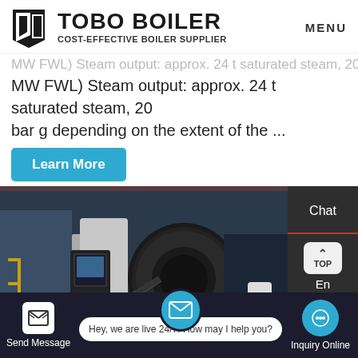[Figure (logo): TOBO BOILER logo with geometric icon. Text: TOBO BOILER / COST-EFFECTIVE BOILER SUPPLIER]
MENU
MW FWL) Steam output: approx. 24 t saturated steam, 20 bar g depending on the extent of the ...
[Figure (other): Learn More button (blue)]
[Figure (photo): Industrial boiler equipment photo showing boiler units with yellow pipes and control panels in a facility]
Chat
En
Contact
Send Message
Hey, we are live 24/7. How may I help you?
Inquiry Online